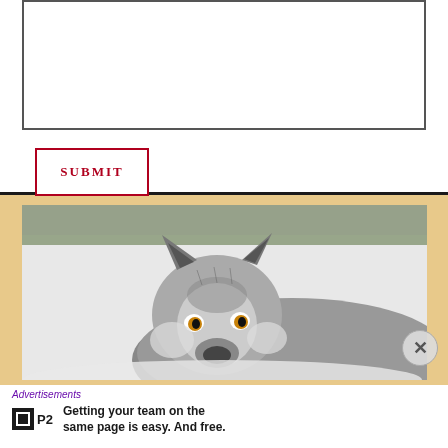[Figure (screenshot): Form text input area — a white rectangular input box with gray border, part of a web form modal.]
[Figure (screenshot): A SUBMIT button with red border and red uppercase serif text reading SUBMIT on white background.]
[Figure (photo): Close-up photograph of a gray wolf lying in snow, looking directly at camera with amber eyes. Winter forest scene in background.]
Advertisements
Getting your team on the same page is easy. And free.